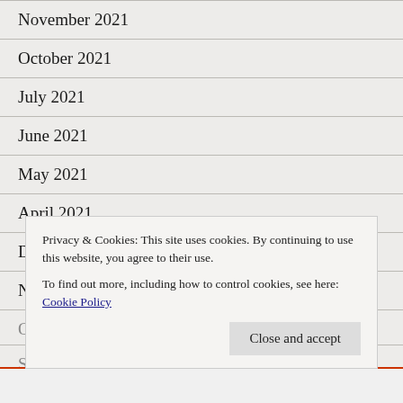November 2021
October 2021
July 2021
June 2021
May 2021
April 2021
December 2020
November 2020
Privacy & Cookies: This site uses cookies. By continuing to use this website, you agree to their use.
To find out more, including how to control cookies, see here: Cookie Policy
Close and accept